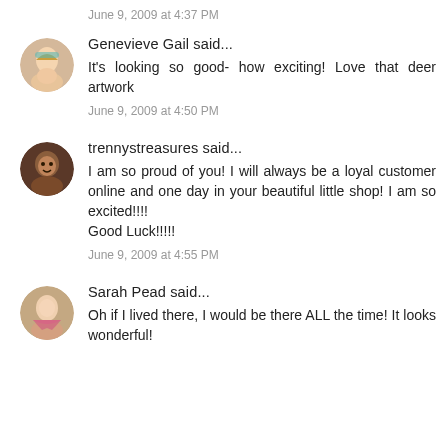June 9, 2009 at 4:37 PM
Genevieve Gail said...
It's looking so good- how exciting! Love that deer artwork
June 9, 2009 at 4:50 PM
trennystreasures said...
I am so proud of you! I will always be a loyal customer online and one day in your beautiful little shop! I am so excited!!!! Good Luck!!!!!
June 9, 2009 at 4:55 PM
Sarah Pead said...
Oh if I lived there, I would be there ALL the time! It looks wonderful!